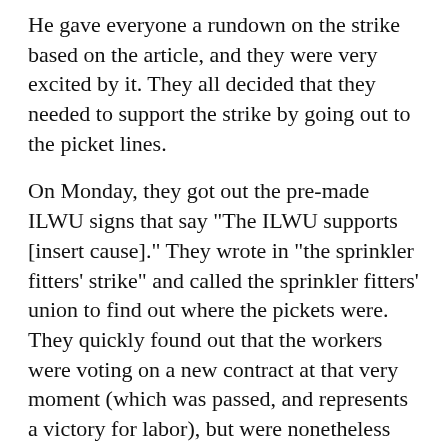He gave everyone a rundown on the strike based on the article, and they were very excited by it. They all decided that they needed to support the strike by going out to the picket lines.
On Monday, they got out the pre-made ILWU signs that say "The ILWU supports [insert cause]." They wrote in "the sprinkler fitters' strike" and called the sprinkler fitters' union to find out where the pickets were. They quickly found out that the workers were voting on a new contract at that very moment (which was passed, and represents a victory for labor), but were nonetheless energized by the experience.
As the worker put it to me, "We're negotiating our own contract right now. We'll need the support of other workers and the only way to earn that is through supporting other union struggles. An injury to one is an injury to all...I just wanted to let you know that even the smallest pieces of sand [for example, selling papers on Friday mornings] can